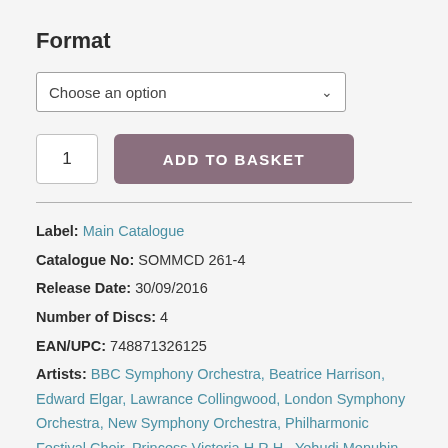Format
Choose an option
1  ADD TO BASKET
Label: Main Catalogue
Catalogue No: SOMMCD 261-4
Release Date: 30/09/2016
Number of Discs: 4
EAN/UPC: 748871326125
Artists: BBC Symphony Orchestra, Beatrice Harrison, Edward Elgar, Lawrance Collingwood, London Symphony Orchestra, New Symphony Orchestra, Philharmonic Festival Choir, Princess Victoria H.R.H., Yehudi Menuhin